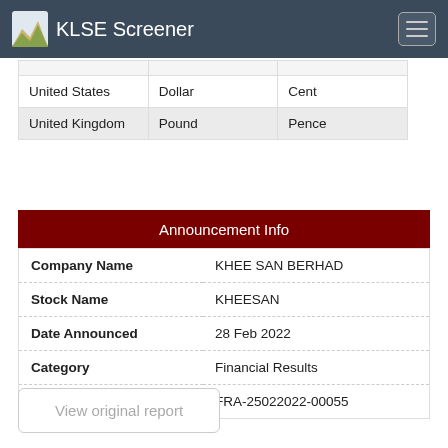KLSE Screener
|  |  |  |
| --- | --- | --- |
|  |  |  |
| United States | Dollar | Cent |
| United Kingdom | Pound | Pence |
Announcement Info
| Field | Value |
| --- | --- |
| Company Name | KHEE SAN BERHAD |
| Stock Name | KHEESAN |
| Date Announced | 28 Feb 2022 |
| Category | Financial Results |
| Reference Number | FRA-25022022-00055 |
View original report